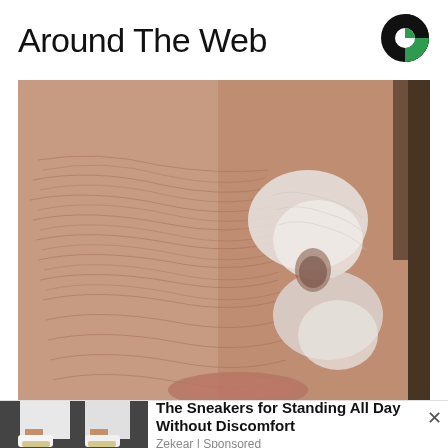Around The Web
[Figure (logo): Outbrain logo - circular icon with green and dark segments]
[Figure (photo): Close-up photo of a person's face with visible skin texture and wrinkles, with white creamy substance applied to parts of the face near the nose and cheek area]
[Figure (photo): Thumbnail of white sneakers worn by a person in white pants on a dark surface]
The Sneakers for Standing All Day Without Discomfort
Zekear | Sponsored